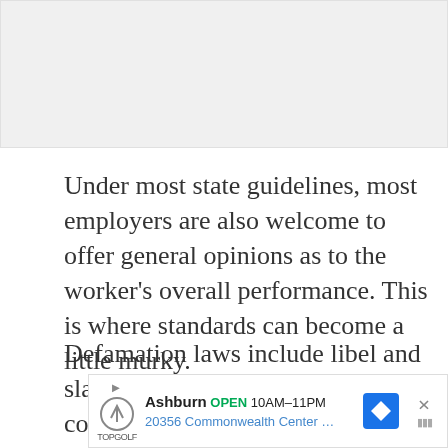[Figure (photo): Gray placeholder image area at the top of the page]
Under most state guidelines, most employers are also welcome to offer general opinions as to the worker's overall performance. This is where standards can become a little murky.
Defamation laws include libel and slander, and an unfavorable review concerning a former employee could be actionable on those grounds, even
[Figure (other): Advertisement banner for Topgolf in Ashburn, showing OPEN 10AM-11PM, 20356 Commonwealth Center...]